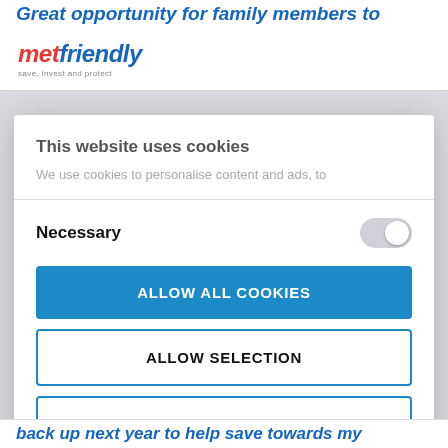Great opportunity for family members to
[Figure (logo): metfriendly logo with tagline 'save, invest and protect']
This website uses cookies
We use cookies to personalise content and ads, to
Necessary
ALLOW ALL COOKIES
ALLOW SELECTION
USE NECESSARY COOKIES ONLY
Powered by Cookiebot by Usercentrics
back up next year to help save towards my